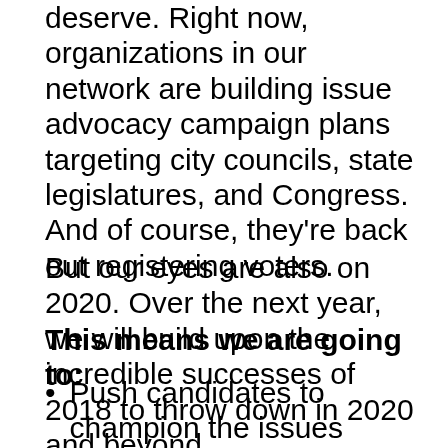deserve. Right now, organizations in our network are building issue advocacy campaign plans targeting city councils, state legislatures, and Congress. And of course, they're back out registering voters.
But our eyes are also on 2020. Over the next year, we will build upon the incredible successes of 2018 to throw down in 2020 and beyond.
This means we are going to:
Push candidates to champion the issues young people care about most. From free college to immigration